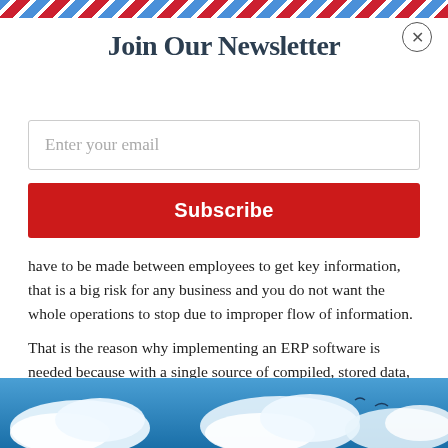[Figure (other): Airmail diagonal stripe border at top of page in red and blue on white]
Join Our Newsletter
Enter your email
Subscribe
have to be made between employees to get key information, that is a big risk for any business and you do not want the whole operations to stop due to improper flow of information.
That is the reason why implementing an ERP software is needed because with a single source of compiled, stored data, it makes it easier for everyone from managers to staff to access the same information.
[Figure (photo): Sky with clouds photograph at the bottom of the page]